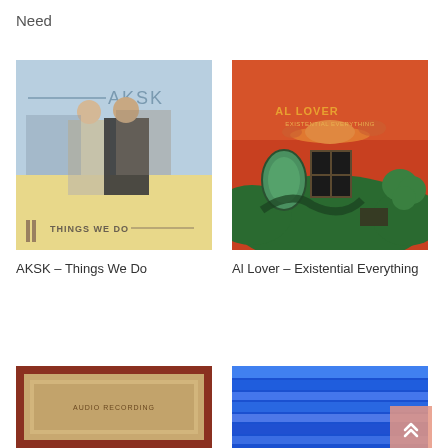Need
[Figure (illustration): Album cover for AKSK - Things We Do: light blue and yellow background with two figures standing, text AKSK at top and THINGS WE DO at bottom]
AKSK – Things We Do
[Figure (illustration): Album cover for Al Lover - Existential Everything: orange/red background with surreal green landscape, floating oval mirror, black window, and stylized trees]
Al Lover – Existential Everything
[Figure (photo): Partially visible album cover at bottom left with dark red/maroon border]
[Figure (photo): Partially visible album cover at bottom right with blue gradient/stripes]